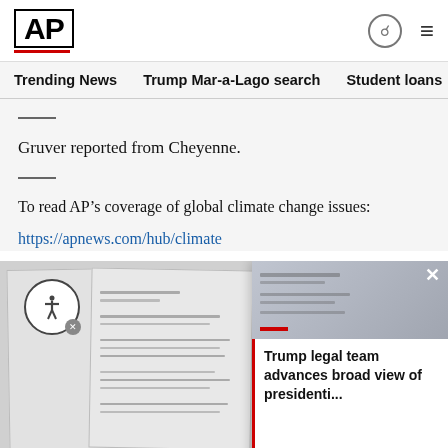AP
Trending News | Trump Mar-a-Lago search | Student loans | U.S.
Gruver reported from Cheyenne.
To read AP's coverage of global climate change issues: https://apnews.com/hub/climate
[Figure (screenshot): Screenshot of AP News webpage showing document image at bottom and overlay card with Trump legal team headline]
Trump legal team advances broad view of presidenti...